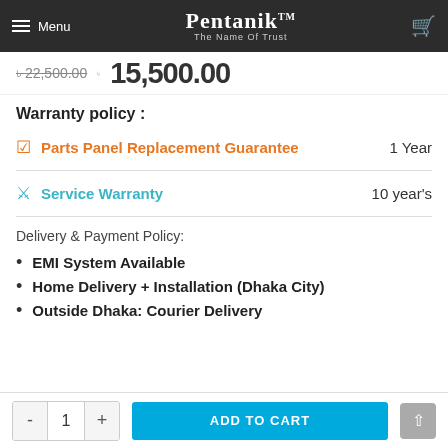Pentanik™ — The Name Of Trust
৳ 22,500.00  ৳ 15,500.00
Warranty policy :
Parts Panel Replacement Guarantee — 1 Year
Service Warranty — 10 year's
Delivery & Payment Policy:
EMI System Available
Home Delivery + Installation (Dhaka City)
Outside Dhaka: Courier Delivery